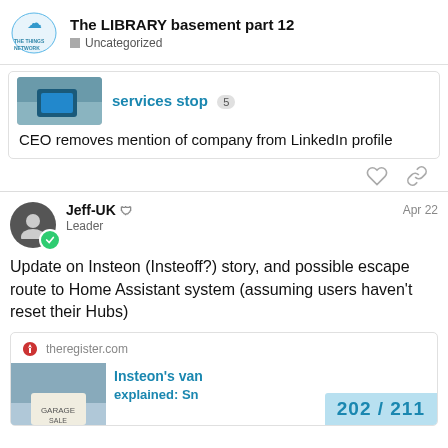The LIBRARY basement part 12 — Uncategorized
[Figure (screenshot): Partial link card showing a thumbnail image and blue link title 'services stop' with badge '5']
CEO removes mention of company from LinkedIn profile
Jeff-UK  Leader  Apr 22
Update on Insteon (Insteoff?) story, and possible escape route to Home Assistant system (assuming users haven't reset their Hubs)
[Figure (screenshot): Link card from theregister.com showing a garage sale sign image and blue title text starting 'Insteon's van... explained: Sn...' with pagination badge '202 / 211']